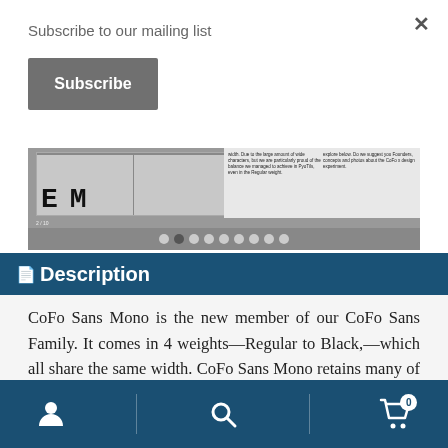Subscribe to our mailing list
[Figure (illustration): Subscribe button (gray rounded rectangle with bold white text 'Subscribe')]
[Figure (screenshot): Font preview showing letter E and M with gray background, dots navigation indicator, and small text columns]
Description
CoFo Sans Mono is the new member of our CoFo Sans Family. It comes in 4 weights—Regular to Black,—which all share the same width. CoFo Sans Mono retains many of the key characteristics of CoFo Sans, but they've
[Figure (infographic): Bottom navigation bar with person icon, search icon, and shopping cart icon with badge showing 0]